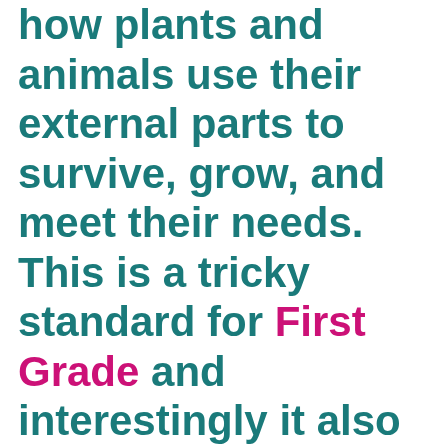how plants and animals use their external parts to survive, grow, and meet their needs. This is a tricky standard for First Grade and interestingly it also aligns with the Second Grade Standard for Utah SEEd.